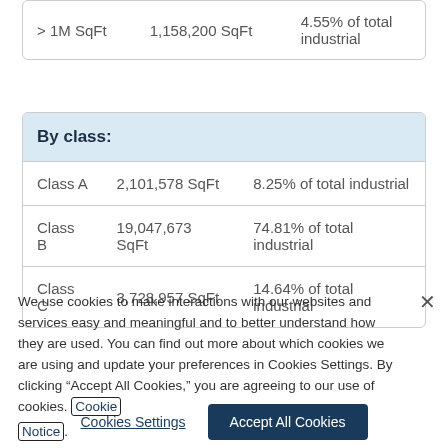| Size | Area | Percentage |
| --- | --- | --- |
| > 1M SqFt | 1,158,200 SqFt | 4.55% of total industrial |
| Class | Area | Percentage |
| --- | --- | --- |
| By class: |  |  |
| Class A | 2,101,578 SqFt | 8.25% of total industrial |
| Class B | 19,047,673 SqFt | 74.81% of total industrial |
| Class C | 3,728,957 SqFt | 14.64% of total industrial |
We use cookies to make interactions with our websites and services easy and meaningful and to better understand how they are used. You can find out more about which cookies we are using and update your preferences in Cookies Settings. By clicking “Accept All Cookies,” you are agreeing to our use of cookies. Cookie Notice.
Cookies Settings | Accept All Cookies